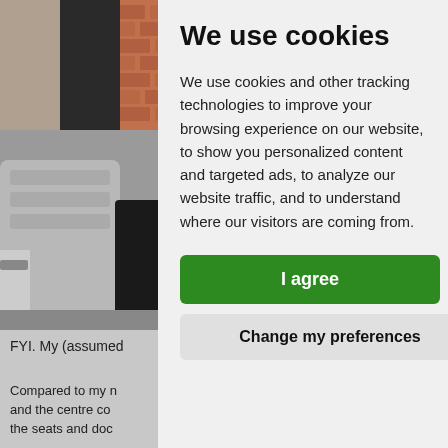[Figure (photo): Car interior showing seats, door panel, and brick wall visible through window]
FYI. My (assumed
Compared to my n and the centre co the seats and doc
We use cookies
We use cookies and other tracking technologies to improve your browsing experience on our website, to show you personalized content and targeted ads, to analyze our website traffic, and to understand where our visitors are coming from.
I agree
Change my preferences